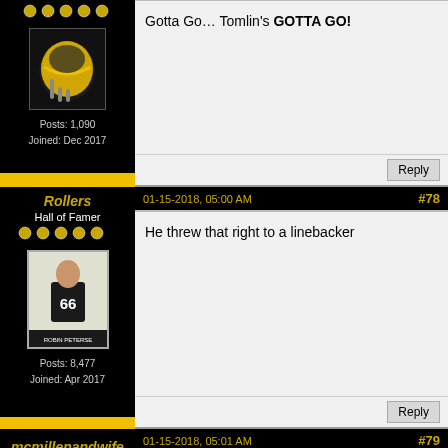[Figure (screenshot): Forum post partial top - user with Steelers helmet avatar, Posts: 1,090, Joined: Dec 2017. Post content: Gotta Go… Tomlin's GOTTA GO!]
Gotta Go… Tomlin's GOTTA GO!
Posts: 1,090
Joined: Dec 2017
Rollers
Hall of Famer
Posts: 8,477
Joined: Apr 2017
01-15-2018, 05:00 AM
#78
He threw that right to a linebacker
mcmillenandwife
Administrator
01-15-2018, 05:01 AM
#79
Crazy good moves on that short